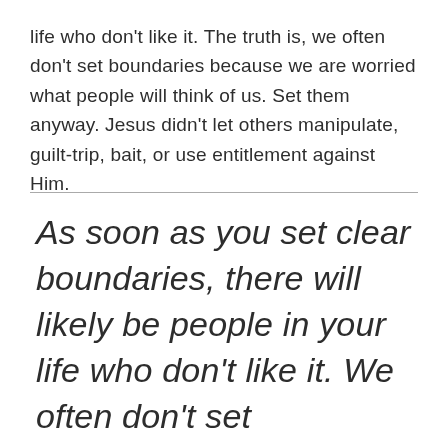life who don't like it. The truth is, we often don't set boundaries because we are worried what people will think of us. Set them anyway. Jesus didn't let others manipulate, guilt-trip, bait, or use entitlement against Him.
As soon as you set clear boundaries, there will likely be people in your life who don't like it. We often don't set boundaries because we are worried what people